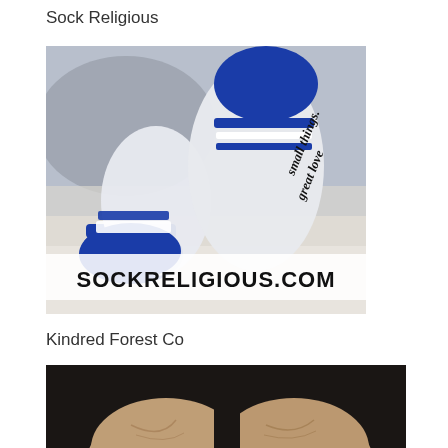Sock Religious
[Figure (photo): Photo of white and blue socks with text 'small things. great love' written on the sole, held up by a person's feet. A white overlay banner at the bottom reads 'SOCKRELIGIOUS.COM' in bold black text.]
Kindred Forest Co
[Figure (photo): Photo of a person holding their open palms upward against a dark background, partially cropped at the bottom of the page.]